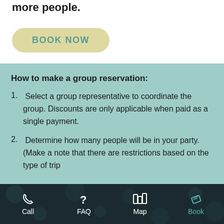more people.
BOOK NOW
How to make a group reservation:
Select a group representative to coordinate the group. Discounts are only applicable when paid as a single payment.
Determine how many people will be in your party. (Make a note that there are restrictions based on the type of trip
Call  FAQ  Map  Book